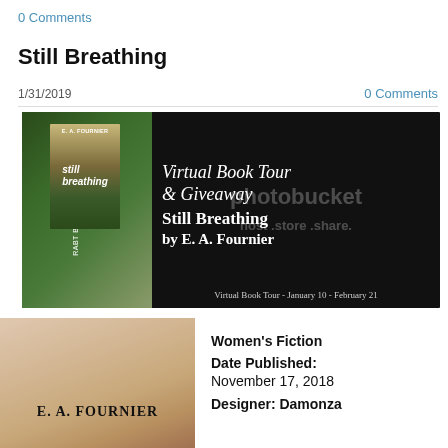0 Comments
Still Breathing
1/31/2019
0 Comments
[Figure (illustration): Virtual Book Tour & Giveaway banner for 'Still Breathing' by E. A. Fournier, with book cover image on dark background. Text: 'Virtual Book Tour & Giveaway Still Breathing by E. A. Fournier. Virtual Book Tour - January 10 - February 21'. Photobucket watermark visible. Left side shows RABT Book Tours and PR vertical text.]
[Figure (illustration): Book cover image showing soft warm tones with text 'E. A. FOURNIER' across the middle, partial view of the book cover for 'Still Breathing'.]
Women's Fiction
Date Published: November 17, 2018
Designer: Damonza